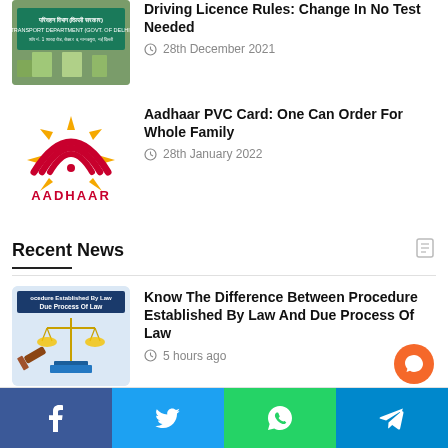[Figure (photo): Transport Department (Govt. of Delhi) sign board photo, partial view at top]
Driving Licence Rules: Change In No Test Needed
28th December 2021
[Figure (logo): Aadhaar logo — red rainbow arcs with yellow sun rays, text AADHAAR below]
Aadhaar PVC Card: One Can Order For Whole Family
28th January 2022
Recent News
[Figure (illustration): Illustration showing scales of justice, gavel, and books with text 'procedure Established By Law Due Process Of Law']
Know The Difference Between Procedure Established By Law And Due Process Of Law
5 hours ago
[Figure (photo): Photo of two women in metro train]
Video Of Two Women Fighting For A Seat In Metro Is Now Viral